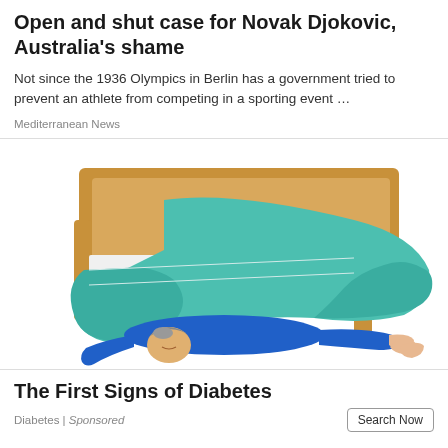Open and shut case for Novak Djokovic, Australia's shame
Not since the 1936 Olympics in Berlin has a government tried to prevent an athlete from competing in a sporting event …
Mediterranean News
[Figure (illustration): Illustration of a person in blue pajamas lying on the floor beside a wooden bed, with a teal/green blanket falling off the bed.]
The First Signs of Diabetes
Diabetes | Sponsored